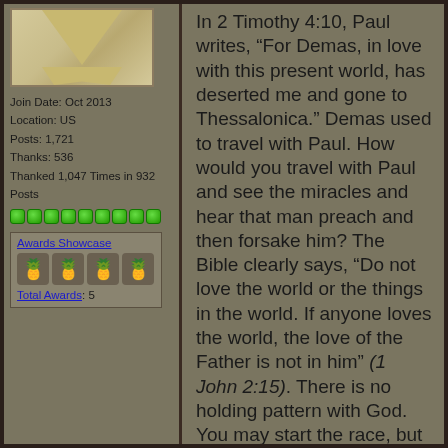[Figure (illustration): Forum user avatar ribbon/banner shape in tan/gold color]
Join Date: Oct 2013
Location: US
Posts: 1,721
Thanks: 536
Thanked 1,047 Times in 932 Posts
[Figure (infographic): Row of green reputation dot squares]
Awards Showcase
Total Awards: 5
In 2 Timothy 4:10, Paul writes, “For Demas, in love with this present world, has deserted me and gone to Thessalonica.” Demas used to travel with Paul. How would you travel with Paul and see the miracles and hear that man preach and then forsake him? The Bible clearly says, “Do not love the world or the things in the world. If anyone loves the world, the love of the Father is not in him” (1 John 2:15). There is no holding pattern with God. You may start the race, but you still have to finish too. That’s not legalism; that’s just